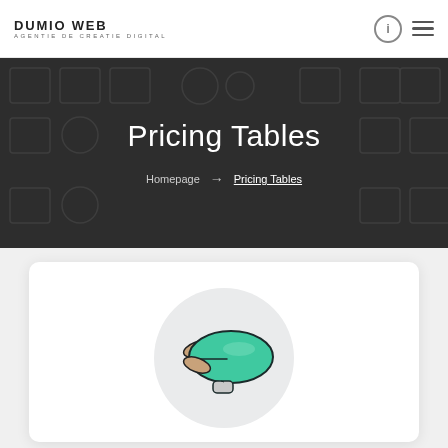DUMIO WEB
AGENTIE DE CREATIE DIGITAL
Pricing Tables
Homepage → Pricing Tables
[Figure (illustration): Cartoon blimp/airship icon in teal/green color on a light grey circular background, displayed on a white card with rounded corners.]